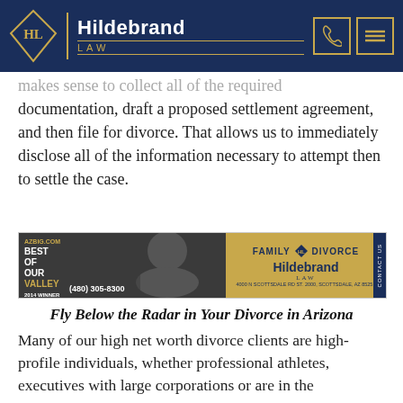Hildebrand LAW
makes sense to collect all of the required documentation, draft a proposed settlement agreement, and then file for divorce. That allows us to immediately disclose all of the information necessary to attempt then to settle the case.
[Figure (advertisement): Hildebrand Law ad banner: Best of Our Valley, (480) 305-8300, man's photo, FAMILY DIVORCE, Hildebrand LAW, 4000 N Scottsdale Rd St. 2000, Scottsdale, AZ 85251, CONTACT US]
Fly Below the Radar in Your Divorce in Arizona
Many of our high net worth divorce clients are high-profile individuals, whether professional athletes, executives with large corporations or are in the entertainment industry. Our goal in this approach is to minimize, as much as possible, the